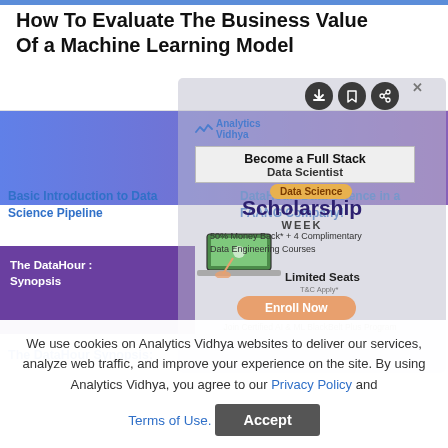How To Evaluate The Business Value Of a Machine Learning Model
[Figure (screenshot): Analytics Vidhya website screenshot showing article cards with blue and purple banners, DataHour links, and a scholarship modal popup overlay with 'Become a Full Stack Data Scientist', 'Data Science Scholarship WEEK', '50% Money Back + 4 Complimentary Data Engineering Courses', 'Limited Seats', 'Enroll Now', and 'Join Certified AI & ML BlackBelt Plus Program' text. Three dark icon buttons visible at top right of modal.]
We use cookies on Analytics Vidhya websites to deliver our services, analyze web traffic, and improve your experience on the site. By using Analytics Vidhya, you agree to our Privacy Policy and Terms of Use.
Accept